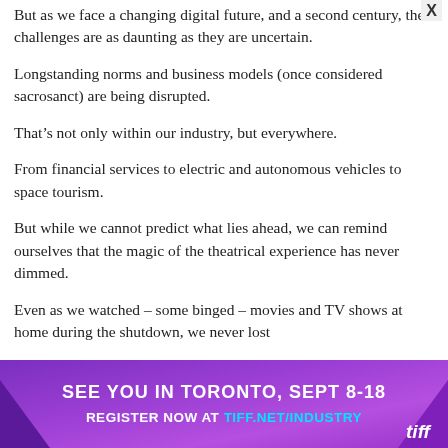But as we face a changing digital future, and a second century, the challenges are as daunting as they are uncertain.
Longstanding norms and business models (once considered sacrosanct) are being disrupted.
That’s not only within our industry, but everywhere.
From financial services to electric and autonomous vehicles to space tourism.
But while we cannot predict what lies ahead, we can remind ourselves that the magic of the theatrical experience has never dimmed.
Even as we watched – some binged – movies and TV shows at home during the shutdown, we never lost
[Figure (infographic): Advertisement banner for TIFF (Toronto International Film Festival). Purple/violet gradient background with triangular accent on left. Text reads: SEE YOU IN TORONTO, SEPT 8-18 / REGISTER NOW AT TIFF.NET/INDUSTRY. TIFF logo in white italic at bottom right.]